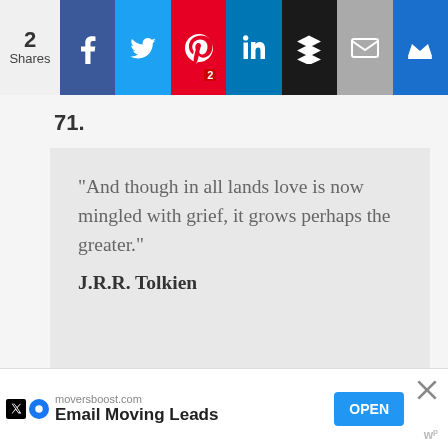[Figure (screenshot): Social sharing bar with 2 Shares count, and buttons for Facebook, Twitter, Pinterest (2), LinkedIn, Buffer, Email, and Crown/bookmark]
71.
“And though in all lands love is now mingled with grief, it grows perhaps the greater.” J.R.R. Tolkien
[Figure (screenshot): Advertisement banner: moversboost.com - Email Moving Leads - OPEN button]